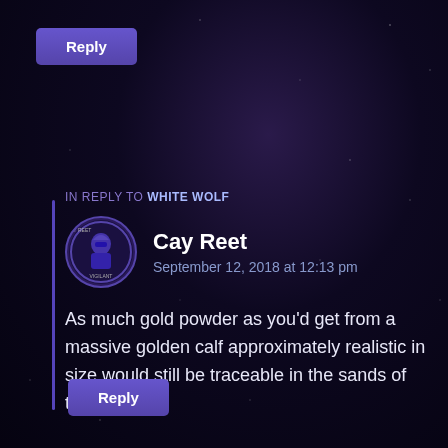[Figure (screenshot): Reply button at top left, styled with purple/indigo gradient background]
IN REPLY TO WHITE WOLF
[Figure (logo): Circular avatar logo for Cay Reet Vigilant with knight/warrior imagery in purple tones]
Cay Reet
September 12, 2018 at 12:13 pm
As much gold powder as you’d get from a massive golden calf approximately realistic in size would still be traceable in the sands of the desert.
[Figure (screenshot): Reply button at bottom left, styled with purple/indigo gradient background]